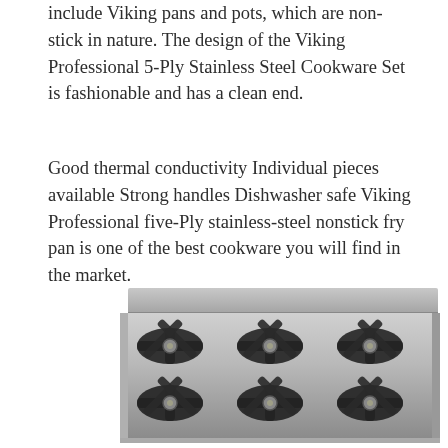include Viking pans and pots, which are non-stick in nature. The design of the Viking Professional 5-Ply Stainless Steel Cookware Set is fashionable and has a clean end.
Good thermal conductivity Individual pieces available Strong handles Dishwasher safe Viking Professional five-Ply stainless-steel nonstick fry pan is one of the best cookware you will find in the market.
[Figure (photo): A stainless steel Viking professional rangetop/cooktop with six cast iron burner grates arranged in two rows of three, viewed from a slightly elevated angle.]